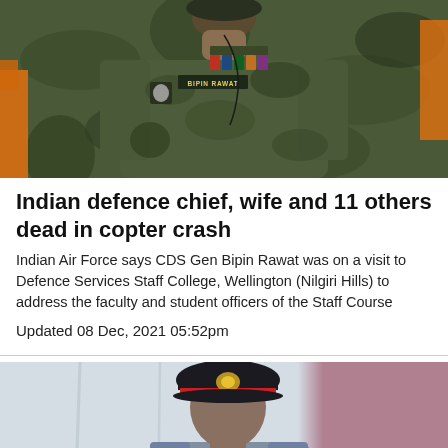[Figure (photo): Military officer in camouflage uniform with medals and name tag 'BIPIN RAWAT', orange decorative elements in background]
Indian defence chief, wife and 11 others dead in copter crash
Indian Air Force says CDS Gen Bipin Rawat was on a visit to Defence Services Staff College, Wellington (Nilgiri Hills) to address the faculty and student officers of the Staff Course
Updated 08 Dec, 2021 05:52pm
[Figure (photo): Military officer in black cap with red band and gold insignia, grey suit, white curtain background with brownish-red wall on right side]